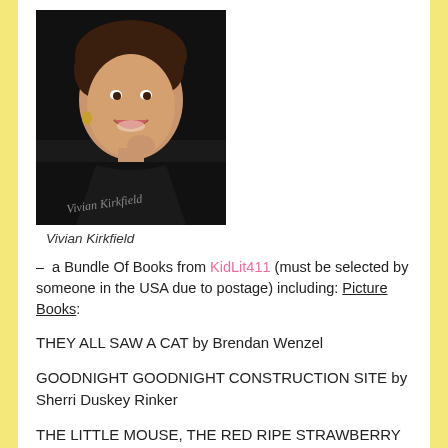[Figure (photo): Portrait photo of Vivian Kirkfield, a woman with curly dark hair wearing a black top, smiling, with a signature on her shirt.]
Vivian Kirkfield
– a Bundle Of Books from KidLit411 (must be selected by someone in the USA due to postage) including: Picture Books:
THEY ALL SAW A CAT by Brendan Wenzel
GOODNIGHT GOODNIGHT CONSTRUCTION SITE by Sherri Duskey Rinker
THE LITTLE MOUSE, THE RED RIPE STRAWBERRY AND THE BIG HUNGRY BEAR by Don and Audrey Wood